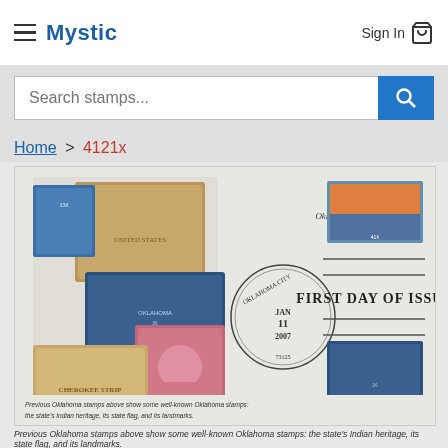Mystic — Sign In
Search stamps...
Home > 4121x
[Figure (photo): First Day Cover envelope for Oklahoma Centennial stamp, postmarked Oklahoma City OK, JAN 11 2007, 73125. Shows previous Oklahoma stamps including Cherokee Strip, Indian heritage, state flag, and landmarks. Text reads 'FIRST DAY OF ISSUE'. Caption: Previous Oklahoma stamps above show some well-known Oklahoma stamps: the state's Indian heritage, its state flag, and its landmarks.]
Previous Oklahoma stamps above show some well-known Oklahoma stamps: the state's Indian heritage, its state flag, and its landmarks.